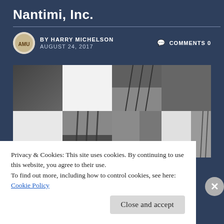Nantimi, Inc.
BY HARRY MICHELSON   COMMENTS 0
AUGUST 24, 2017
[Figure (photo): Photo collage of amusement park / roller coaster images in black and white mosaic grid layout]
Privacy & Cookies: This site uses cookies. By continuing to use this website, you agree to their use.
To find out more, including how to control cookies, see here: Cookie Policy
Close and accept